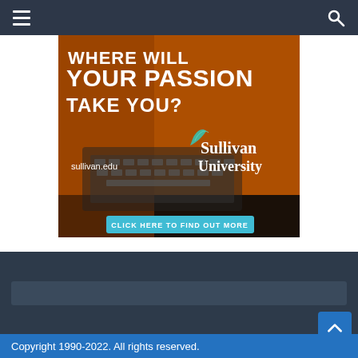Navigation bar with hamburger menu and search icon
[Figure (illustration): Sullivan University advertisement banner. Orange-tinted background showing hands on a laptop keyboard. White bold text reads 'WHERE WILL YOUR PASSION TAKE YOU?' with Sullivan University logo and website sullivan.edu. Teal button at bottom reads 'CLICK HERE TO FIND OUT MORE'.]
Copyright 1990-2022. All rights reserved.